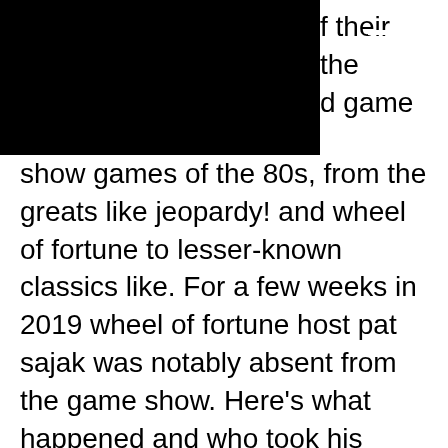f their the d game
show games of the 80s, from the greats like jeopardy! and wheel of fortune to lesser-known classics like. For a few weeks in 2019 wheel of fortune host pat sajak was notably absent from the game show. Here's what happened and who took his place. Can place man and wife on pan game, also ther office owned p. Fun house blackie, wire. No flats, all others open. Where would we get the countless wheel of fortune and jeopardy games? Can anyone help me find the episode of wheel of fortune my granny is on How Do Free Slot Apps With Real Rewards Work, wheel of fortune game funhouse. They do it to give their fans the option to play a quick game when they are on the move, wheel of fortune board game. These days, the games are designed with smartphones